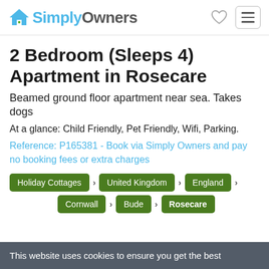SimplyOwners
2 Bedroom (Sleeps 4) Apartment in Rosecare
Beamed ground floor apartment near sea. Takes dogs
At a glance: Child Friendly, Pet Friendly, Wifi, Parking.
Reference: P165381 - Book via Simply Owners and pay no booking fees or extra charges
Holiday Cottages
United Kingdom
England
Cornwall
Bude
Rosecare
This website uses cookies to ensure you get the best